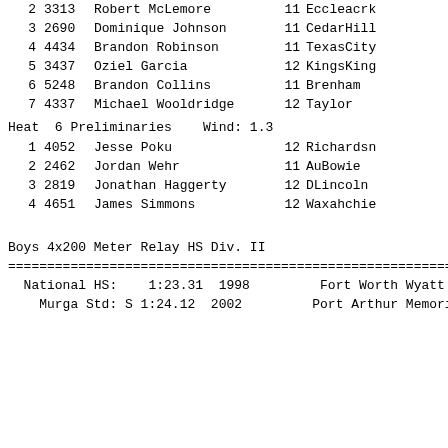2  3313 Robert McLemore    11 Eccleacrk
3  2690 Dominique Johnson  11 CedarHill
4  4434 Brandon Robinson   11 TexasCity
5  3437 Oziel Garcia       12 KingsKing
6  5248 Brandon Collins    11 Brenham
7  4337 Michael Wooldridge 12 Taylor
Heat  6 Preliminaries   Wind: 1.3
1  4052 Jesse Poku         12 Richardsn
2  2462 Jordan Wehr        11 AuBowie
3  2819 Jonathan Haggerty  12 DLincoln
4  4651 James Simmons      12 Waxahchie
Boys 4x200 Meter Relay HS Div. II
================================================================
National HS:  1:23.31  1998       Fort Worth Wyatt
Murga Std: S 1:24.12  2002        Port Arthur Memoria